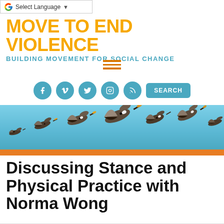G Select Language ▼
MOVE TO END VIOLENCE
BUILDING MOVEMENT FOR SOCIAL CHANGE
[Figure (screenshot): Hamburger menu icon with three horizontal orange lines]
[Figure (screenshot): Social media icons row: Facebook, Vimeo, Twitter, Instagram, RSS — all teal circles — plus a teal SEARCH button]
[Figure (photo): Banner photo of Canada geese flying against a blue sky, with an orange bar below]
Discussing Stance and Physical Practice with Norma Wong